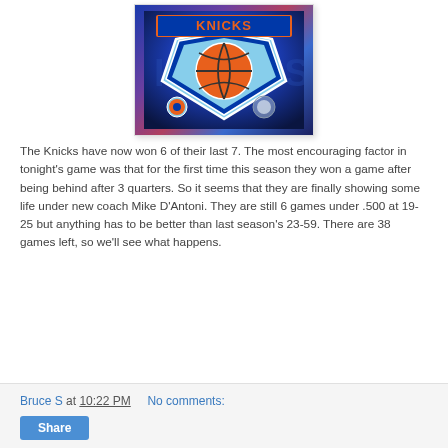[Figure (photo): New York Knicks team logo on a blue/purple gradient background with basketball motif]
The Knicks have now won 6 of their last 7. The most encouraging factor in tonight's game was that for the first time this season they won a game after being behind after 3 quarters. So it seems that they are finally showing some life under new coach Mike D'Antoni. They are still 6 games under .500 at 19-25 but anything has to be better than last season's 23-59. There are 38 games left, so we'll see what happens.
Bruce S at 10:22 PM   No comments:
Share